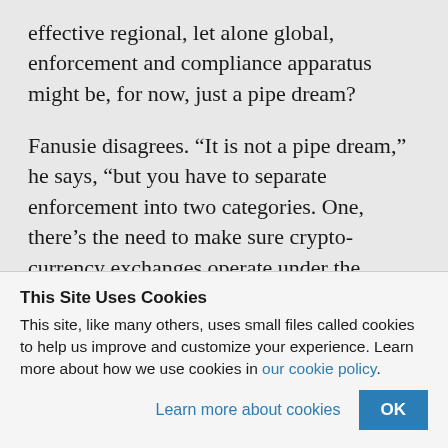effective regional, let alone global, enforcement and compliance apparatus might be, for now, just a pipe dream?
Fanusie disagrees. “It is not a pipe dream,” he says, “but you have to separate enforcement into two categories. One, there’s the need to make sure crypto-currency exchanges operate under the
This Site Uses Cookies
This site, like many others, uses small files called cookies to help us improve and customize your experience. Learn more about how we use cookies in our cookie policy.
Learn more about cookies
OK